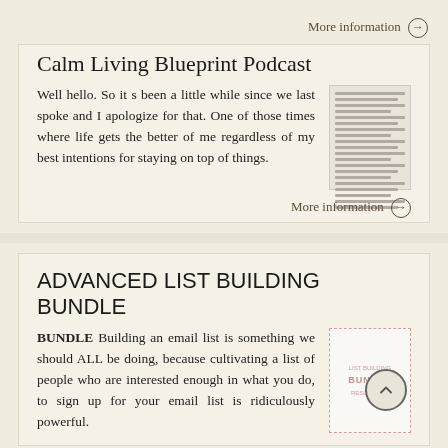More information →
Calm Living Blueprint Podcast
Well hello. So it s been a little while since we last spoke and I apologize for that. One of those times where life gets the better of me regardless of my best intentions for staying on top of things.
More information →
ADVANCED LIST BUILDING BUNDLE
BUNDLE Building an email list is something we should ALL be doing, because cultivating a list of people who are interested enough in what you do, to sign up for your email list is ridiculously powerful.
More information →